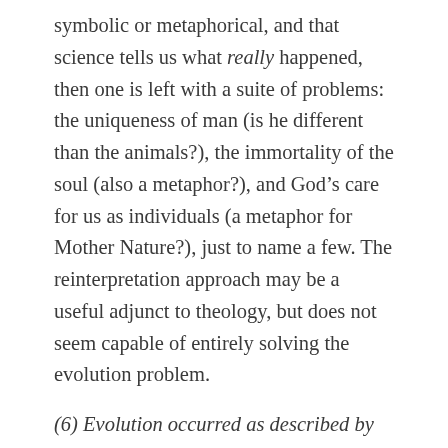symbolic or metaphorical, and that science tells us what really happened, then one is left with a suite of problems: the uniqueness of man (is he different than the animals?), the immortality of the soul (also a metaphor?), and God’s care for us as individuals (a metaphor for Mother Nature?), just to name a few. The reinterpretation approach may be a useful adjunct to theology, but does not seem capable of entirely solving the evolution problem.
(6) Evolution occurred as described by science. This may also be termed the theory of fundamental wholeness. According to this approach, physical laws and initial conditions on planet Earth were sufficient to produce man after 5 billion years of evolution, assuming natural selection and possibly other (natural) forces at work. God’s governance